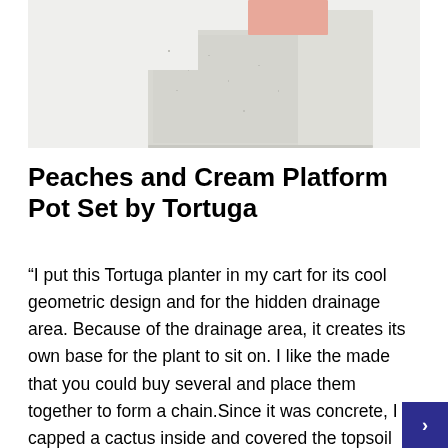[Figure (photo): Peaches and Cream Platform Pot Set by Tortuga — a concrete geometric planter with a peach/salmon colored top element, photographed on a white background]
Peaches and Cream Platform Pot Set by Tortuga
“I put this Tortuga planter in my cart for its cool geometric design and for the hidden drainage area. Because of the drainage area, it creates its own base for the plant to sit on. I like the made that you could buy several and place them together to form a chain.Since it was concrete, I capped a cactus inside and covered the topsoil with small stones...